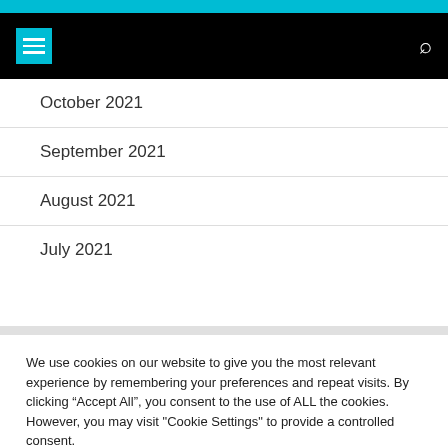Navigation header with menu icon and search icon
October 2021
September 2021
August 2021
July 2021
We use cookies on our website to give you the most relevant experience by remembering your preferences and repeat visits. By clicking “Accept All”, you consent to the use of ALL the cookies. However, you may visit "Cookie Settings" to provide a controlled consent.